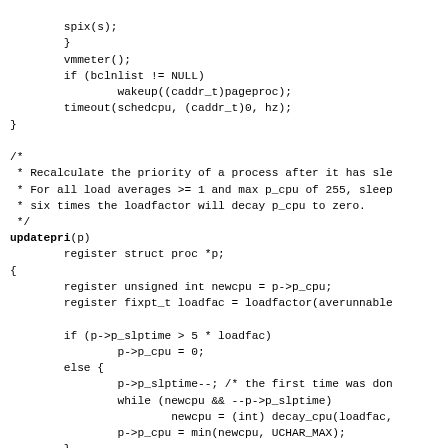Code excerpt showing C functions: spix(s), vmmeter(), bcln list check, timeout, updatepri(p) function with priority recalculation logic including register declarations, if/else blocks with p_cpu decay calculations, and setpri(p) call.